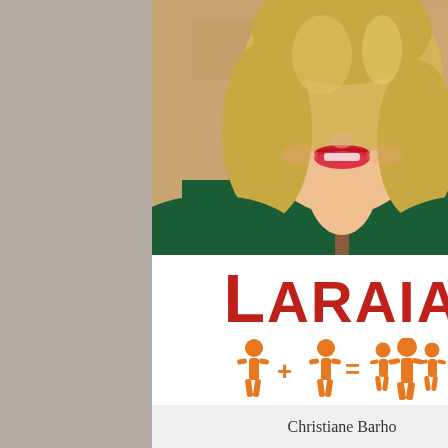[Figure (photo): Professional headshot of a blonde woman wearing a dark green jacket with red lipstick, smiling, against a warm-toned background.]
[Figure (logo): Laraia International Personnel Development logo. Text 'LARAIA' in large dark red bold letters, below it orange pictogram figures showing 1 person + 1 person = 3 persons, and below that the text 'INTERNATIONAL PERSONNEL DEVELOPMENT' in red spaced capitals.]
Christiane Barho